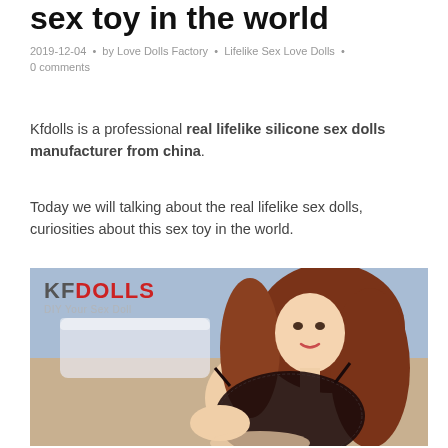sex toy in the world
2019-12-04 • by Love Dolls Factory • Lifelike Sex Love Dolls • 0 comments
Kfdolls is a professional real lifelike silicone sex dolls manufacturer from china.
Today we will talking about the real lifelike sex dolls, curiosities about this sex toy in the world.
[Figure (photo): Photo of a lifelike silicone doll with auburn hair wearing black lace lingerie, posed against a bedroom background. KFDOLLS logo watermark in top-left corner with subtitle 'DIY Your Sex Doll'.]